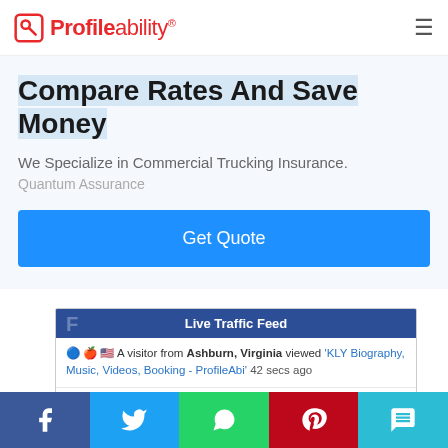Profileability®
Compare Rates And Save Money
We Specialize in Commercial Trucking Insurance.
Quantum Assurance
Get Quote
[Figure (screenshot): Live Traffic Feed widget showing visitor activity: A visitor from Ashburn, Virginia viewed 'KLY Biography, Music, Videos, Booking - ProfileAbi' 42 secs ago; A visitor from Los angeles, California viewed 'Vernyuy Tina Biography, Music, Videos, Booking - P' 1 min ago; A visitor from Clayton, North carolina viewed 'KS...']
Facebook | Twitter | WhatsApp | Pinterest | SMS